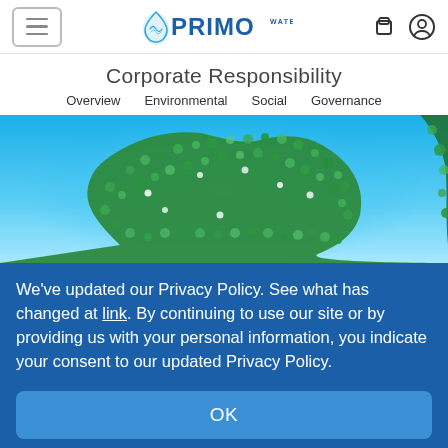Primo Water — Corporate Responsibility page header with hamburger menu, Primo Water logo, cart and account icons
Corporate Responsibility
Overview   Environmental   Social   Governance
[Figure (photo): Hero image of a green leafy landmass shaped like a map, set against a bright blue background, representing environmental responsibility.]
We've updated our Privacy Policy. See what has changed at link. By continuing to use our site or by providing us with your personal information, you indicate your consent to our updated Privacy Policy.
OK